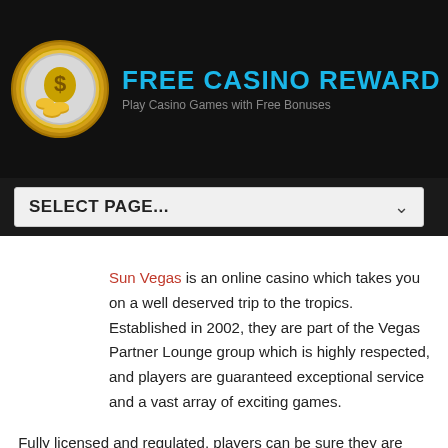FREE CASINO REWARD — Play Casino Games with Free Bonuses
SELECT PAGE...
Sun Vegas is an online casino which takes you on a well deserved trip to the tropics. Established in 2002, they are part of the Vegas Partner Lounge group which is highly respected, and players are guaranteed exceptional service and a vast array of exciting games.
Fully licensed and regulated, players can be sure they are also getting fair game play as they are licensed by the Lotteries and Gaming